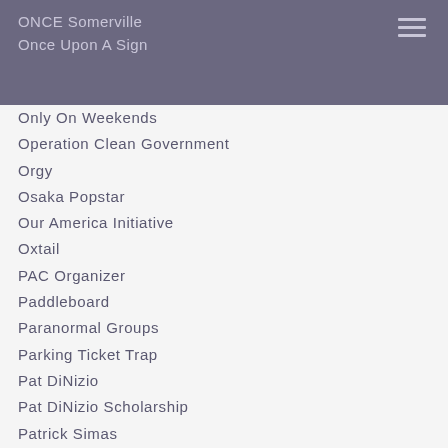ONCE Somerville
Once Upon A Sign
Only On Weekends
Operation Clean Government
Orgy
Osaka Popstar
Our America Initiative
Oxtail
PAC Organizer
Paddleboard
Paranormal Groups
Parking Ticket Trap
Pat DiNizio
Pat DiNizio Scholarship
Patrick Simas
Patti Smith
Pawtucket
Peace Now
Pension Settlement
Peter Neronah
Pink Ink Funk